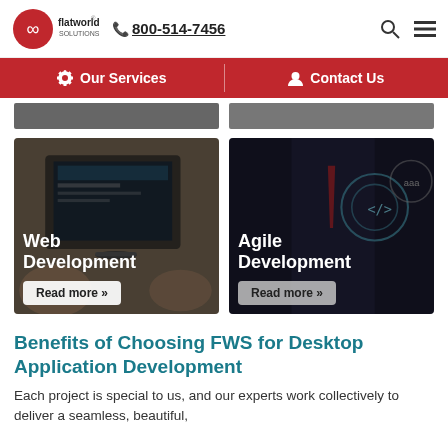flatworld solutions | 800-514-7456
[Figure (screenshot): Navigation bar with 'Our Services' and 'Contact Us' menu items on red background]
[Figure (photo): Two partial card images at top (truncated)]
[Figure (photo): Web Development card with laptop background image, title 'Web Development' and 'Read more »' button]
[Figure (photo): Agile Development card with technology background image, title 'Agile Development' and 'Read more »' button]
Benefits of Choosing FWS for Desktop Application Development
Each project is special to us, and our experts work collectively to deliver a seamless, beautiful,